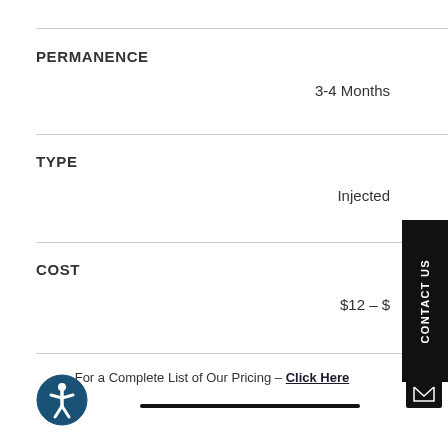PERMANENCE
3-4 Months
TYPE
Injected
COST
$12 – $
For a Complete List of Our Pricing – Click Here
[Figure (other): CONTACT US vertical sidebar button (black background, white rotated text)]
[Figure (other): Email envelope icon (black background)]
[Figure (other): Accessibility icon (person in circle, dark blue)]
Bottom navigation bar (black horizontal bar)